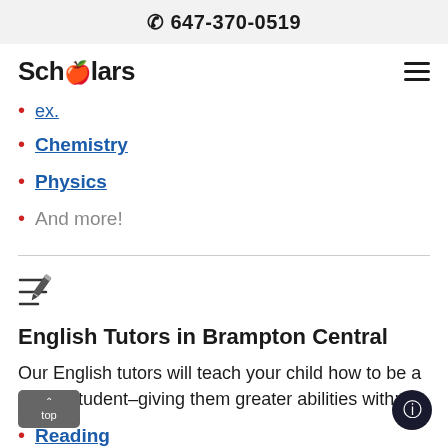📞 647-370-0519
[Figure (logo): Scholars logo with red apple replacing 'o', and hamburger menu icon on the right]
...ex. (truncated link, blue underlined)
Chemistry
Physics
And more!
[Figure (illustration): List with pencil icon (edit/notes icon)]
English Tutors in Brampton Central
Our English tutors will teach your child how to be a better student–giving them greater abilities with:
Reading